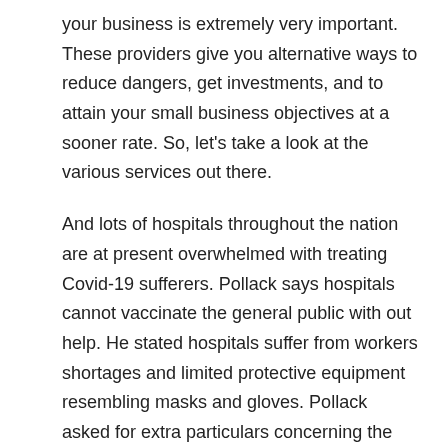your business is extremely very important. These providers give you alternative ways to reduce dangers, get investments, and to attain your small business objectives at a sooner rate. So, let's take a look at the various services out there.
And lots of hospitals throughout the nation are at present overwhelmed with treating Covid-19 sufferers. Pollack says hospitals cannot vaccinate the general public with out help. He stated hospitals suffer from workers shortages and limited protective equipment resembling masks and gloves. Pollack asked for extra particulars concerning the authorities's plan to include pharmacy chains in the wider vaccine rollout.